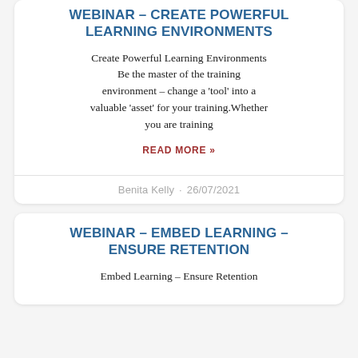WEBINAR – CREATE POWERFUL LEARNING ENVIRONMENTS
Create Powerful Learning Environments Be the master of the training environment – change a 'tool' into a valuable 'asset' for your training.Whether you are training
READ MORE »
Benita Kelly · 26/07/2021
WEBINAR – EMBED LEARNING – ENSURE RETENTION
Embed Learning – Ensure Retention